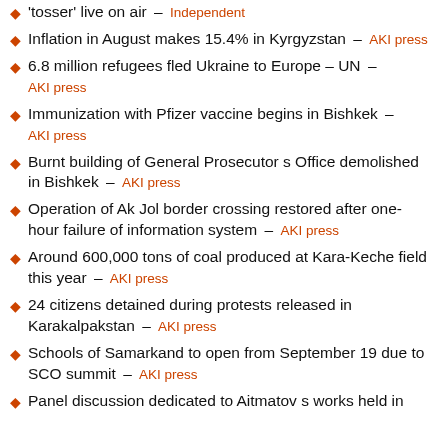'tosser' live on air – Independent
Inflation in August makes 15.4% in Kyrgyzstan – AKI press
6.8 million refugees fled Ukraine to Europe – UN – AKI press
Immunization with Pfizer vaccine begins in Bishkek – AKI press
Burnt building of General Prosecutor s Office demolished in Bishkek – AKI press
Operation of Ak Jol border crossing restored after one-hour failure of information system – AKI press
Around 600,000 tons of coal produced at Kara-Keche field this year – AKI press
24 citizens detained during protests released in Karakalpakstan – AKI press
Schools of Samarkand to open from September 19 due to SCO summit – AKI press
Panel discussion dedicated to Aitmatov s works held in